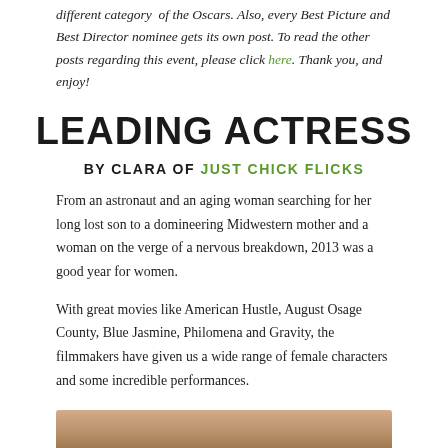different category of the Oscars. Also, every Best Picture and Best Director nominee gets its own post. To read the other posts regarding this event, please click here. Thank you, and enjoy!
LEADING ACTRESS
BY CLARA OF JUST CHICK FLICKS
From an astronaut and an aging woman searching for her long lost son to a domineering Midwestern mother and a woman on the verge of a nervous breakdown, 2013 was a good year for women.
With great movies like American Hustle, August Osage County, Blue Jasmine, Philomena and Gravity, the filmmakers have given us a wide range of female characters and some incredible performances.
[Figure (photo): Bottom portion of a photo showing a woman, partially visible at the bottom of the page]